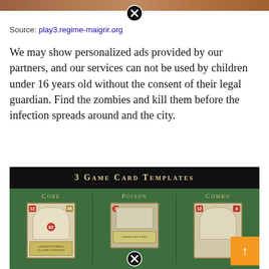[Figure (screenshot): Top cropped image strip showing a brownish/reddish scene with a close button (X) overlay]
Source: play3.regime-maigrir.org
We may show personalized ads provided by our partners, and our services can not be used by children under 16 years old without the consent of their legal guardian. Find the zombies and kill them before the infection spreads around and the city.
[Figure (screenshot): 3 Game Card Templates showing Core, Poison, and Combo game cards on a dark green background with a close button overlay and scroll-to-top button]